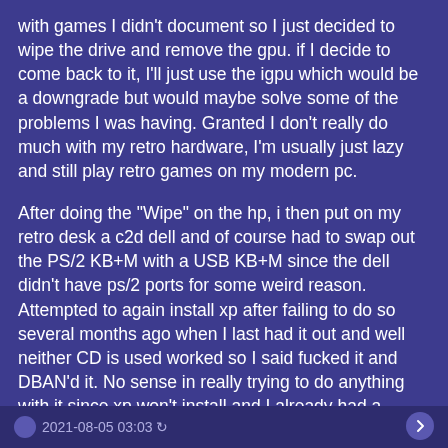with games I didn't document so I just decided to wipe the drive and remove the gpu. if I decide to come back to it, I'll just use the igpu which would be a downgrade but would maybe solve some of the problems I was having. Granted I don't really do much with my retro hardware, I'm usually just lazy and still play retro games on my modern pc.
After doing the "Wipe" on the hp, i then put on my retro desk a c2d dell and of course had to swap out the PS/2 KB+M with a USB KB+M since the dell didn't have ps/2 ports for some weird reason. Attempted to again install xp after failing to do so several months ago when I last had it out and well neither CD is used worked so I said fucked it and DBAN'd it. No sense in really trying to do anything with it since xp won't install and I already had a socket 775 system with XP and double the ram just it's a pentium 4. Probably will put the pentium 4 up on the desk and play around with it later.
2021-08-05 03:03